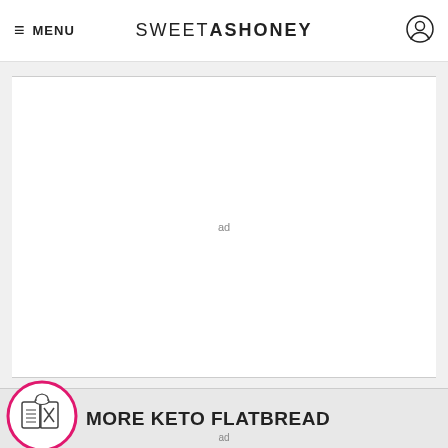≡ MENU   SWEETASHONEY
[Figure (other): Ad placeholder rectangle with 'ad' label in center]
[Figure (other): Book/cookbook icon inside pink circle, with text MORE KETO FLATBREAD banner]
MORE KETO FLATBREAD